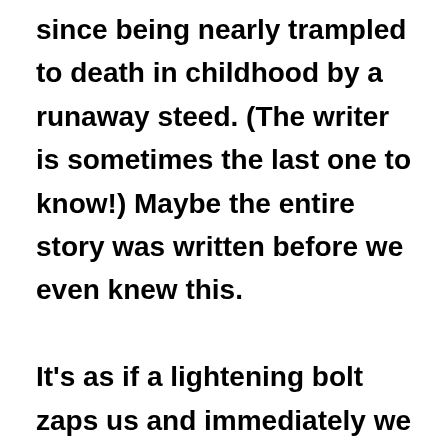since being nearly trampled to death in childhood by a runaway steed. (The writer is sometimes the last one to know!) Maybe the entire story was written before we even knew this.

It's as if a lightening bolt zaps us and immediately we know what we have to do to change that story. These lightening bolts can strike right out of the blue. We